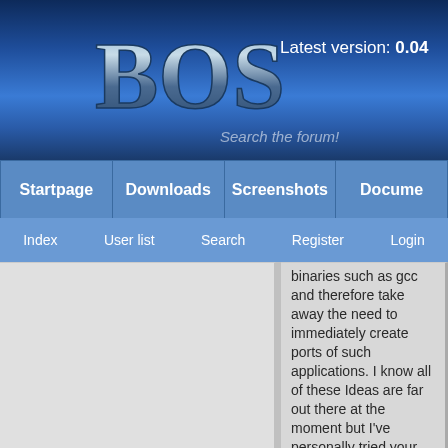BOS — Latest version: 0.04 — Search the forum!
Startpage | Downloads | Screenshots | Docume...
Index | User list | Search | Register | Login
binaries such as gcc and therefore take away the need to immediately create ports of such applications. I know all of these Ideas are far out there at the moment but I've personally tried your code and It is Su-Feckin-Perb and I think It could easily overtako